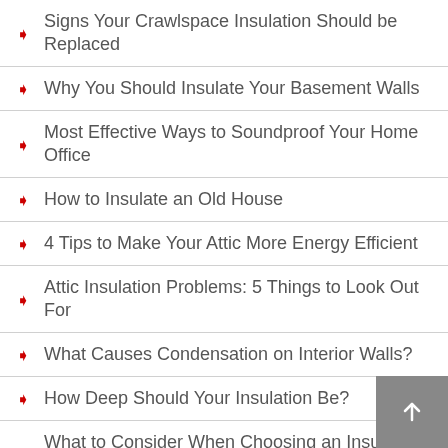Signs Your Crawlspace Insulation Should be Replaced
Why You Should Insulate Your Basement Walls
Most Effective Ways to Soundproof Your Home Office
How to Insulate an Old House
4 Tips to Make Your Attic More Energy Efficient
Attic Insulation Problems: 5 Things to Look Out For
What Causes Condensation on Interior Walls?
How Deep Should Your Insulation Be?
What to Consider When Choosing an Insulation Company
Can You Add New Insulation Layers Over Old Ones?